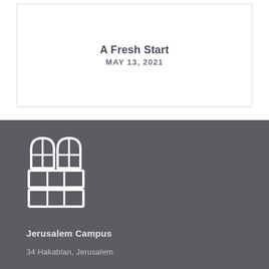A Fresh Start
MAY 13, 2021
[Figure (logo): Building/window grid logo mark in white outline style on dark grey background]
Jerusalem Campus
34 Hakablan, Jerusalem